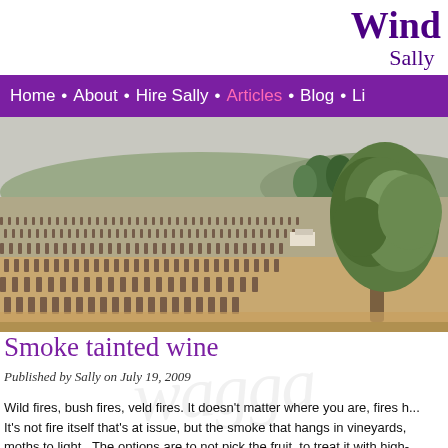Wine... Sally ...
Home • About • Hire Sally • Articles • Blog • Li...
[Figure (photo): Vineyard landscape with rows of grapevines and a large olive tree in the background, hills and green trees on the horizon]
Smoke tainted wine
Published by Sally on July 19, 2009
Wild fires, bush fires, veld fires. It doesn't matter where you are, fires h... It's not fire itself that's at issue, but the smoke that hangs in vineyards, moths to light.  The options are to not pick the fruit, to treat it with high-